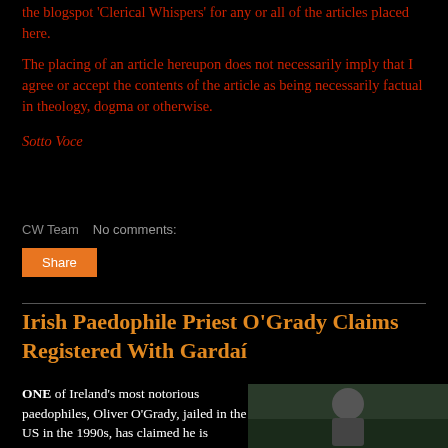the blogspot 'Clerical Whispers' for any or all of the articles placed here.
The placing of an article hereupon does not necessarily imply that I agree or accept the contents of the article as being necessarily factual in theology, dogma or otherwise.
Sotto Voce
CW Team   No comments:
Share
Irish Paedophile Priest O'Grady Claims Registered With Gardaí
ONE of Ireland's most notorious paedophiles, Oliver O'Grady, jailed in the US in the 1990s, has claimed he is voluntarily registered with
[Figure (photo): Outdoor photo of an elderly man in a dark jacket, with green trees in the background]